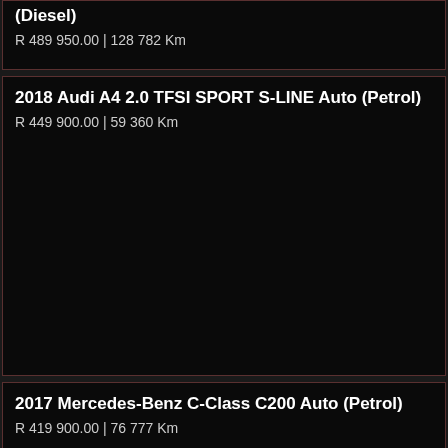(Diesel)
R 489 950.00 | 128 782 Km
2018 Audi A4 2.0 TFSI SPORT S-LINE Auto (Petrol)
R 449 900.00 | 59 360 Km
2017 Mercedes-Benz C-Class C200 Auto (Petrol)
R 419 900.00 | 76 777 Km